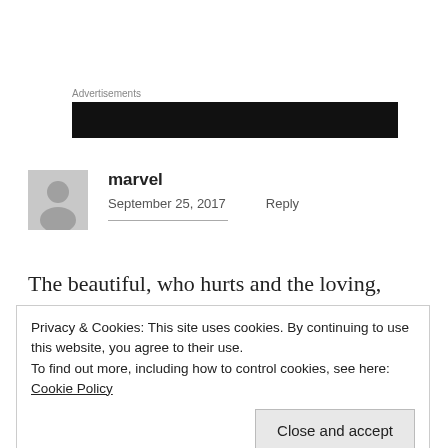Advertisements
[Figure (other): Black advertisement banner block]
marvel
September 25, 2017   Reply
The beautiful, who hurts and the loving, whose
Privacy & Cookies: This site uses cookies. By continuing to use this website, you agree to their use.
To find out more, including how to control cookies, see here: Cookie Policy
Close and accept